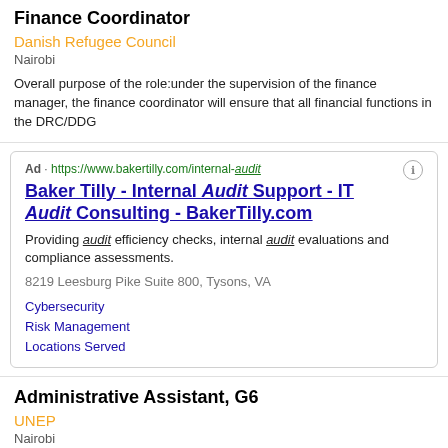Finance Coordinator
Danish Refugee Council
Nairobi
Overall purpose of the role:under the supervision of the finance manager, the finance coordinator will ensure that all financial functions in the DRC/DDG
Ad · https://www.bakertilly.com/internal-audit
Baker Tilly - Internal Audit Support - IT Audit Consulting - BakerTilly.com
Providing audit efficiency checks, internal audit evaluations and compliance assessments.
8219 Leesburg Pike Suite 800, Tysons, VA
Cybersecurity
Risk Management
Locations Served
Administrative Assistant, G6
UNEP
Nairobi
Human Resources Management initiates, reviews, processes and follow up